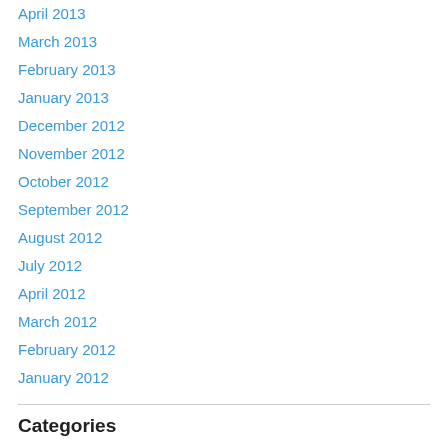April 2013
March 2013
February 2013
January 2013
December 2012
November 2012
October 2012
September 2012
August 2012
July 2012
April 2012
March 2012
February 2012
January 2012
Categories
Bible Study
Eschatology